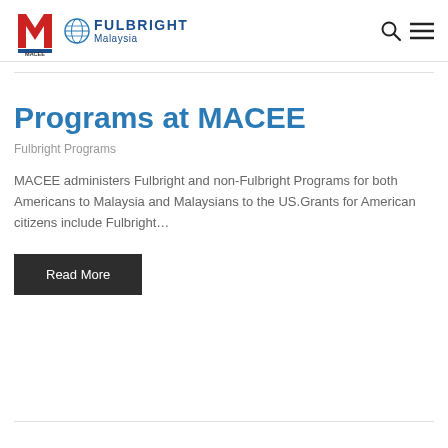MACEE | Fulbright Malaysia
Programs at MACEE
Fulbright Programs
MACEE administers Fulbright and non-Fulbright Programs for both Americans to Malaysia and Malaysians to the US.Grants for American citizens include Fulbright…
Read More